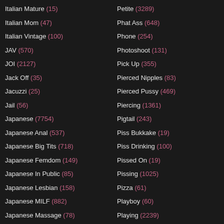Italian Mature (15)
Italian Mom (47)
Italian Vintage (100)
JAV (570)
JOI (2127)
Jack Off (35)
Jacuzzi (25)
Jail (56)
Japanese (7754)
Japanese Anal (537)
Japanese Big Tits (718)
Japanese Femdom (149)
Japanese In Public (85)
Japanese Lesbian (158)
Japanese MILF (882)
Japanese Massage (78)
Petite (3289)
Phat Ass (648)
Phone (254)
Photoshoot (131)
Pick Up (355)
Pierced Nipples (83)
Pierced Pussy (469)
Piercing (1361)
Pigtail (243)
Piss Bukkake (19)
Piss Drinking (100)
Pissed On (19)
Pissing (1025)
Pizza (61)
Playboy (60)
Playing (2239)